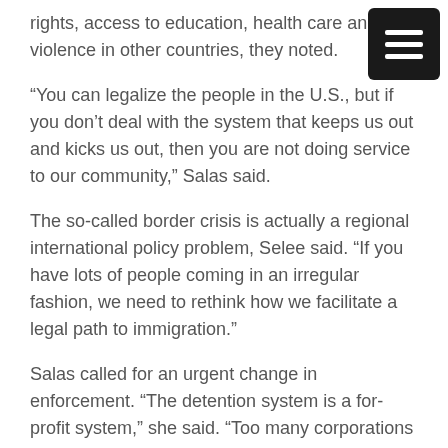rights, access to education, health care and violence in other countries, they noted.
“You can legalize the people in the U.S., but if you don’t deal with the system that keeps us out and kicks us out, then you are not doing service to our community,” Salas said.
The so-called border crisis is actually a regional international policy problem, Selee said. “If you have lots of people coming in an irregular fashion, we need to rethink how we facilitate a legal path to immigration.”
Salas called for an urgent change in enforcement. “The detention system is a for-profit system,” she said. “Too many corporations [make] money off of the detention of our people.”
U.S. immigration policy also needs to account for the economic contributions made by the millions of